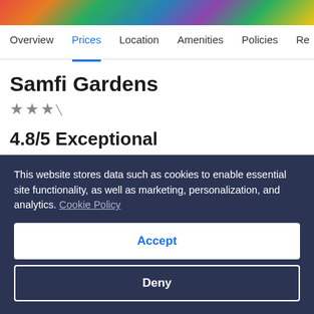[Figure (photo): Colorful decorative tiles or outdoor paving visible at the top of the page]
Overview | Prices | Location | Amenities | Policies | Re...
Samfi Gardens
★★★
4.8/5 Exceptional
Guests rated this property 5.0/5 for cleanliness.
See all 58 reviews >
This website stores data such as cookies to enable essential site functionality, as well as marketing, personalization, and analytics. Cookie Policy
Accept
Deny